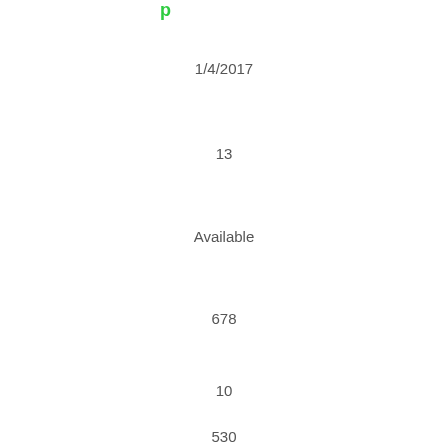1/4/2017
13
Available
678
10
530